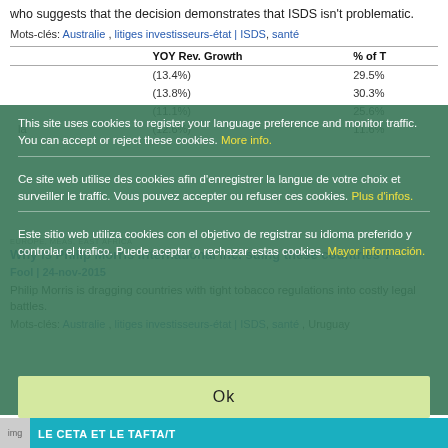who suggests that the decision demonstrates that ISDS isn't problematic.
Mots-clés: Australie , litiges investisseurs-état | ISDS, santé
|  | YOY Rev. Growth | % of T |
| --- | --- | --- |
|  | (13.4%) | 29.5% |
|  | (13.8%) | 30.3% |
|  | (11.1%) | 25.6% |
| la | (12.6%) | 11.6% |
EUROPE, MEAS, EAST AFRICA
Why is Philip Morris International Inc. suing these countries ?
Fool | 24-nov-2015
Philip Morris is dragging countries with tight tobacco regulations into costly legal battles.
Mots-clés: Australie , litiges investisseurs-état | ISDS, santé , Uruguay
This site uses cookies to register your language preference and monitor traffic. You can accept or reject these cookies. More info.
Ce site web utilise des cookies afin d'enregistrer la langue de votre choix et surveiller le traffic. Vous pouvez accepter ou refuser ces cookies. Plus d'infos.
Este sitio web utiliza cookies con el objetivo de registrar su idioma preferido y controlar el trafico. Puede aceptar o rechazar estas cookies. Mayor información.
Ok
[Figure (illustration): Book cover strip showing 'LE CETA ET LE TAFTA/T' in white text on teal background]